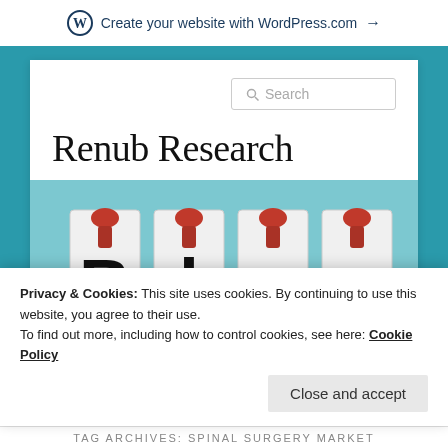Create your website with WordPress.com →
Renub Research
[Figure (photo): Photo showing the word 'Blog' spelled out with letter tiles pinned with red thumbtacks on a white background]
Privacy & Cookies: This site uses cookies. By continuing to use this website, you agree to their use. To find out more, including how to control cookies, see here: Cookie Policy
Close and accept
TAG ARCHIVES: SPINAL SURGERY MARKET